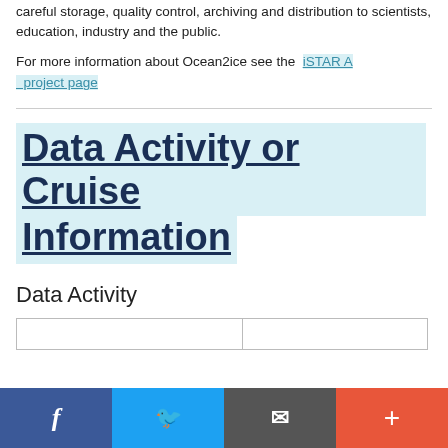careful storage, quality control, archiving and distribution to scientists, education, industry and the public.
For more information about Ocean2ice see the iSTAR A project page
Data Activity or Cruise Information
Data Activity
|  |  |